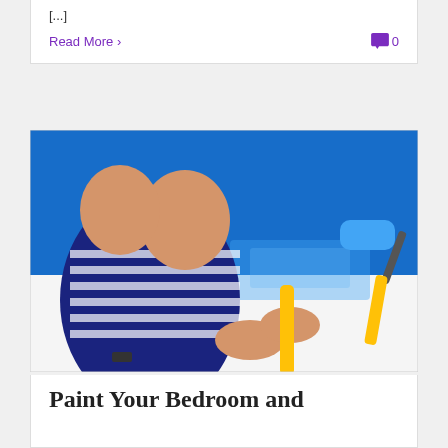[...]
Read More
0
[Figure (photo): A person in a blue and white striped shirt using a yellow-handled paint roller to apply bright blue paint on a white wall.]
Paint Your Bedroom and